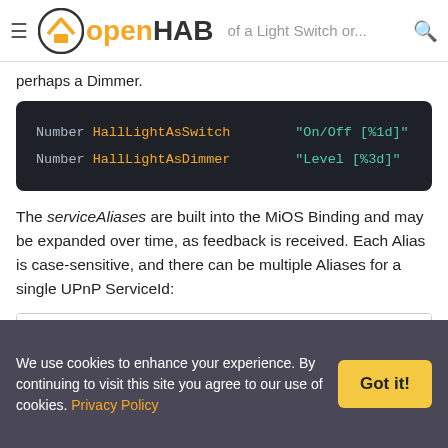openHAB — empowering the smart home | of a Light Switch or perhaps a Dimmer.
perhaps a Dimmer.
Number HallLightAsSwitch   "On/Off [%1d]"
Number HallLightAsDimmer   "Level [%3d]"
The serviceAliases are built into the MiOS Binding and may be expanded over time, as feedback is received. Each Alias is case-sensitive, and there can be multiple Aliases for a single UPnP ServiceId:
| Core UPnP Service Id |  |
| --- | --- |
We use cookies to enhance your experience. By continuing to visit this site you agree to our use of cookies. Privacy Policy